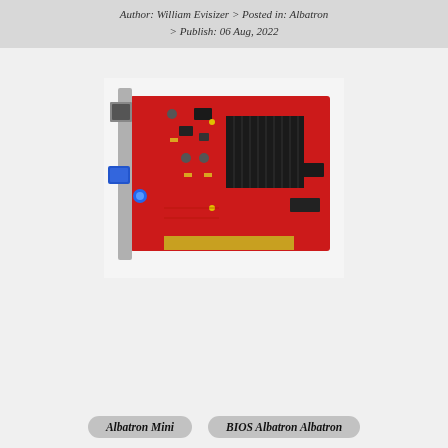Author: William Evisizer > Posted in: Albatron > Publish: 06 Aug, 2022
[Figure (photo): Photo of a red PCB graphics card (Albatron Mini) with a black heatsink, DVI and VGA ports, and AGP connector, shown on a white background.]
Albatron Mini
BIOS Albatron Albatron